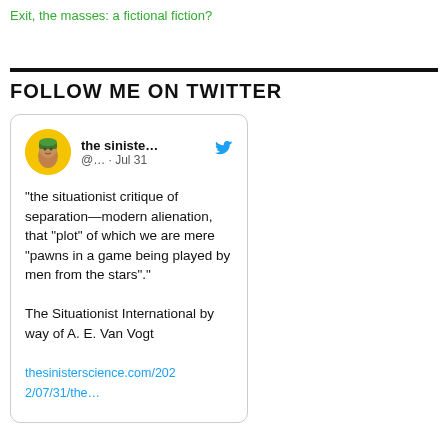Exit, the masses: a fictional fiction?
FOLLOW ME ON TWITTER
[Figure (screenshot): Embedded tweet card from 'the sinister science' account (@...) dated Jul 31, containing a quote about situationist critique and a link to thesinisterscience.com/2022/07/31/the...]